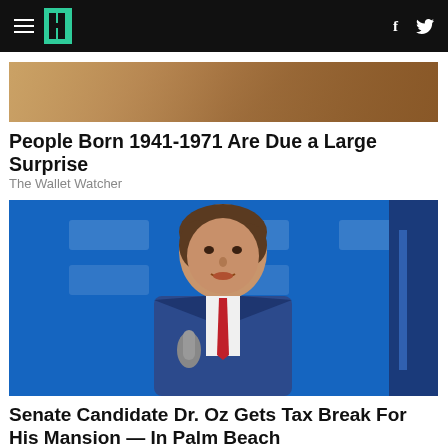HuffPost navigation with hamburger menu, logo, Facebook and Twitter icons
[Figure (photo): Cropped bottom portion of an advertisement image showing food or decorative items]
People Born 1941-1971 Are Due a Large Surprise
The Wallet Watcher
[Figure (photo): Photo of Senate candidate Dr. Oz speaking at a podium in front of a blue backdrop with logos, wearing a blue suit and red tie]
Senate Candidate Dr. Oz Gets Tax Break For His Mansion — In Palm Beach